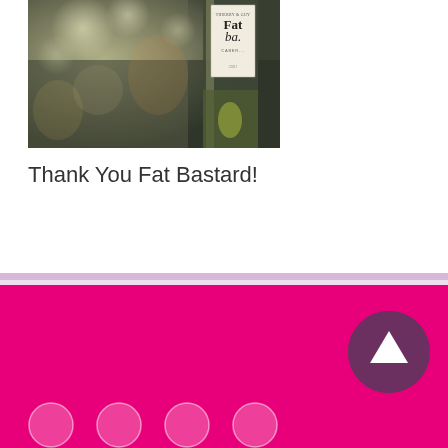[Figure (photo): A close-up photo of a Fat Bastard wine bottle (Thierry & Guy, Cabernet) with bokeh blurred background lights in a restaurant or bar setting]
Thank You Fat Bastard!
Pink footer with scroll-up button and social media icons